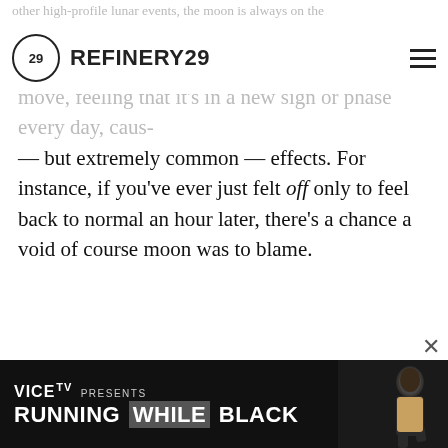REFINERY29
— but extremely common — effects. For instance, if you've ever just felt off only to feel back to normal an hour later, there's a chance a void of course moon was to blame.
ADVERTISEMENT
[Figure (screenshot): Ad banner for VICE TV Presents: Running While Black, showing title text and a person in athletic wear on a dark background]